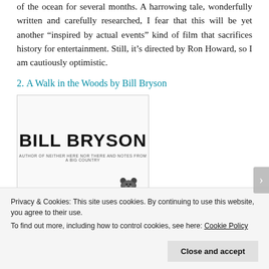of the ocean for several months. A harrowing tale, wonderfully written and carefully researched, I fear that this will be yet another “inspired by actual events” kind of film that sacrifices history for entertainment. Still, it’s directed by Ron Howard, so I am cautiously optimistic.
2. A Walk in the Woods by Bill Bryson
[Figure (photo): Book cover of 'A Walk in the Woods' by Bill Bryson showing large bold text 'BILL BRYSON' with subtitle 'Author of NEITHER HERE NOR THERE and NOTES FROM A BIG COUNTRY' and a small bear figure at the bottom right]
Privacy & Cookies: This site uses cookies. By continuing to use this website, you agree to their use.
To find out more, including how to control cookies, see here: Cookie Policy
Close and accept